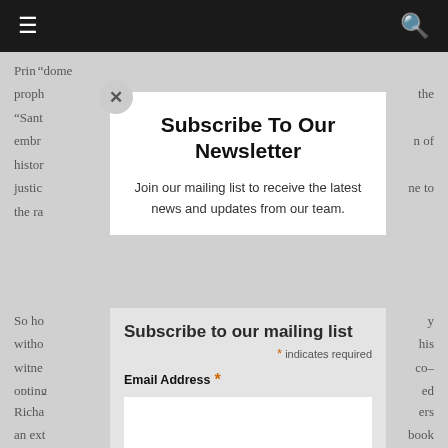≡  [navigation bar]  🔍
Prin... "dome... proph... the "Sant... embr... n of histor... justic... ne to the ra...
Subscribe To Our Newsletter
Join our mailing list to receive the latest news and updates from our team.
Subscribe to our mailing list
* indicates required
Email Address *
So ho... y witho... his witne... co- opting... ed himse... n we decor... the figure... the cross...
Richa... ers an ext... book The b... sion...